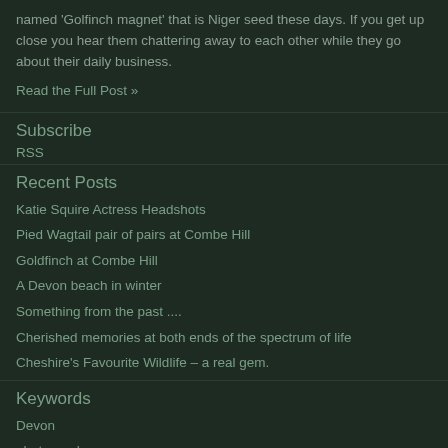every day. They just love Sunflower hearts and chat the one named 'Golfinch magnet' that is Niger seed these days. If you get up close you hear them chattering away to each other while they go about their daily business.
Read the Full Post »
Subscribe
RSS
Recent Posts
Katie Squire Actress Headshots
Pied Wagtail pair of pairs at Combe Hill
Goldfinch at Combe Hill
A Devon beach in winter
Something from the past ....
Cherished memories at both ends of the spectrum of life
Cheshire's Favourite Wildlife – a real gem.
Keywords
Devon
photography